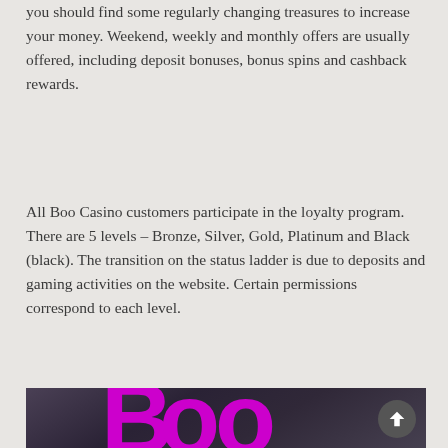you should find some regularly changing treasures to increase your money. Weekend, weekly and monthly offers are usually offered, including deposit bonuses, bonus spins and cashback rewards.
All Boo Casino customers participate in the loyalty program. There are 5 levels – Bronze, Silver, Gold, Platinum and Black (black). The transition on the status ladder is due to deposits and gaming activities on the website. Certain permissions correspond to each level.
[Figure (logo): Boo Casino logo — stylized magenta/purple text 'Boo casino' on a dark gradient background, with a scroll-to-top button in the bottom right corner.]